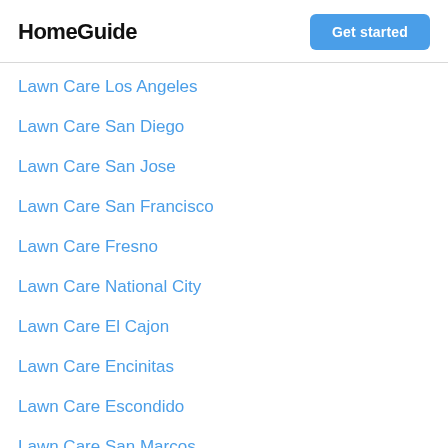HomeGuide
Lawn Care Los Angeles
Lawn Care San Diego
Lawn Care San Jose
Lawn Care San Francisco
Lawn Care Fresno
Lawn Care National City
Lawn Care El Cajon
Lawn Care Encinitas
Lawn Care Escondido
Lawn Care San Marcos